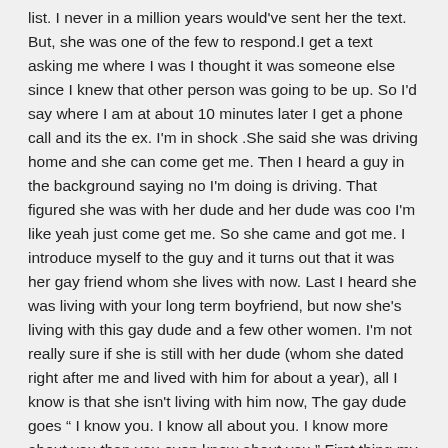list. I never in a million years would've sent her the text. But, she was one of the few to respond.I get a text asking me where I was I thought it was someone else since I knew that other person was going to be up. So I'd say where I am at about 10 minutes later I get a phone call and its the ex. I'm in shock .She said she was driving home and she can come get me. Then I heard a guy in the background saying no I'm doing is driving. That figured she was with her dude and her dude was coo I'm like yeah just come get me. So she came and got me. I introduce myself to the guy and it turns out that it was her gay friend whom she lives with now. Last I heard she was living with your long term boyfriend, but now she's living with this gay dude and a few other women. I'm not really sure if she is still with her dude (whom she dated right after me and lived with him for about a year), all I know is that she isn't living with him now, The gay dude goes " I know you. I know all about you. I know more about you than you even know about you." First thing my ex says to me is happy birthday. then she starts talking about how she misses my family et cetera. The gay dude told her to quit quit reminiscing and all that stuff whenever she got that way. Whats kinda weird is